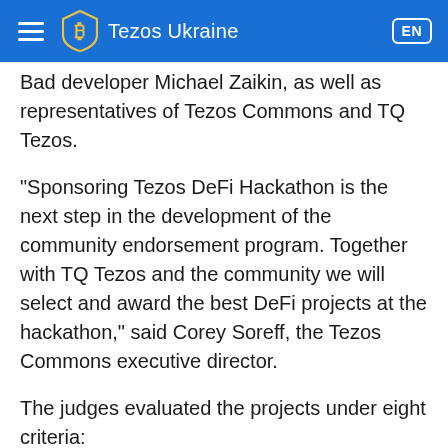Tezos Ukraine EN
Bad developer Michael Zaikin, as well as representatives of Tezos Commons and TQ Tezos.
“Sponsoring Tezos DeFi Hackathon is the next step in the development of the community endorsement program. Together with TQ Tezos and the community we will select and award the best DeFi projects at the hackathon,” said Corey Soreff, the Tezos Commons executive director.
The judges evaluated the projects under eight criteria:
1. Uniqueness
2. Accordance with the hackathon theme /